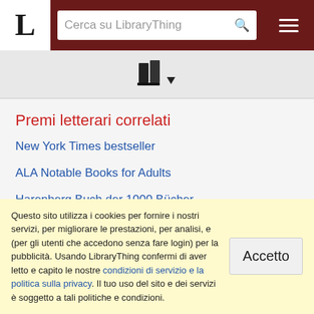L | Cerca su LibraryThing
[Figure (logo): LibraryThing books icon with dropdown arrow]
Premi letterari correlati
New York Times bestseller
ALA Notable Books for Adults
Harenberg Buch der 1000 Bücher
Publishers Weekly Bestseller
(mostra tutte le voci 100)
Questo sito utilizza i cookies per fornire i nostri servizi, per migliorare le prestazioni, per analisi, e (per gli utenti che accedono senza fare login) per la pubblicità. Usando LibraryThing confermi di aver letto e capito le nostre condizioni di servizio e la politica sulla privacy. Il tuo uso del sito e dei servizi è soggetto a tali politiche e condizioni.